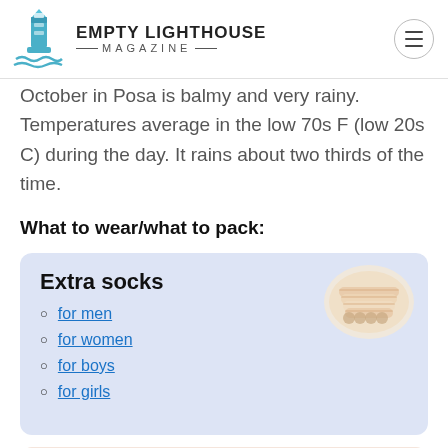EMPTY LIGHTHOUSE MAGAZINE
October in Posa is balmy and very rainy. Temperatures average in the low 70s F (low 20s C) during the day. It rains about two thirds of the time.
What to wear/what to pack:
[Figure (illustration): Product card with blue/lavender background showing 'Extra socks' with links for men, women, boys, girls and an image of white socks]
[Figure (illustration): Product card with peach background showing 'Light dresses' partially visible at bottom of page]